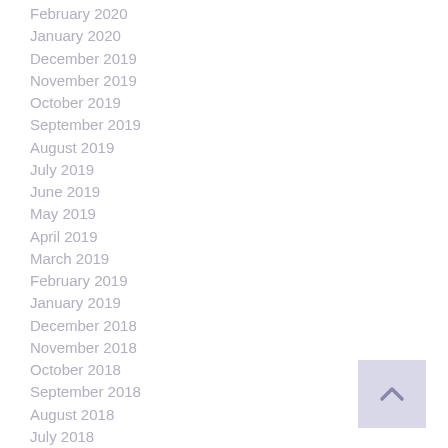February 2020
January 2020
December 2019
November 2019
October 2019
September 2019
August 2019
July 2019
June 2019
May 2019
April 2019
March 2019
February 2019
January 2019
December 2018
November 2018
October 2018
September 2018
August 2018
July 2018
June 2018
[Figure (other): Scroll to top button with upward chevron arrow on light purple/lavender background]